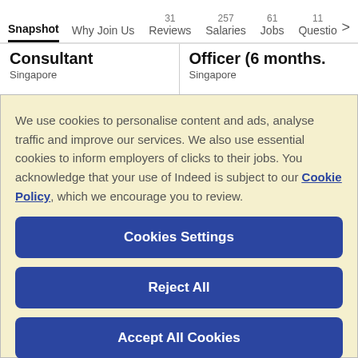Snapshot  Why Join Us  31 Reviews  257 Salaries  61 Jobs  11 Questions >
Consultant
Singapore
Officer (6 months.
Singapore
We use cookies to personalise content and ads, analyse traffic and improve our services. We also use essential cookies to inform employers of clicks to their jobs. You acknowledge that your use of Indeed is subject to our Cookie Policy, which we encourage you to review.
Cookies Settings
Reject All
Accept All Cookies